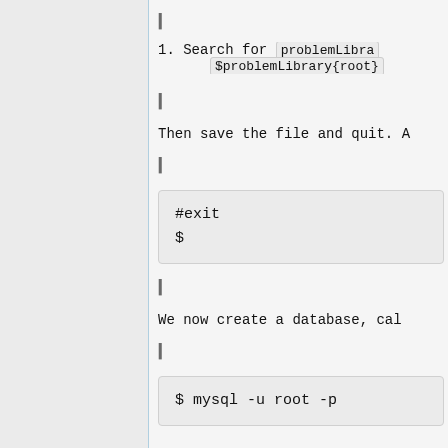1. Search for problemLibrary $problemLibrary{root}
Then save the file and quit. A
[Figure (screenshot): Code block showing: #exit
$]
We now create a database, cal
[Figure (screenshot): Code block showing: $ mysql -u root -p]